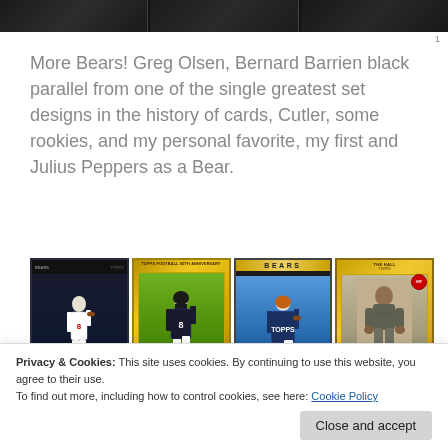[Figure (photo): Three dark trading cards shown partially at the top of the page]
1
More Bears! Greg Olsen, Bernard Barrien black parallel from one of the single greatest set designs in the history of cards, Cutler, some rookies, and my personal favorite, my first and Julius Peppers as a Bear.
[Figure (photo): Four Chicago Bears football trading cards: a dark Topps card with player #8, a Topps 50th Anniversary gold chrome card of Rex Grossman, a Topps Bears card of Rex Grossman, and a gold Topps card of Bronko Nagurski]
Privacy & Cookies: This site uses cookies. By continuing to use this website, you agree to their use. To find out more, including how to control cookies, see here: Cookie Policy
Close and accept